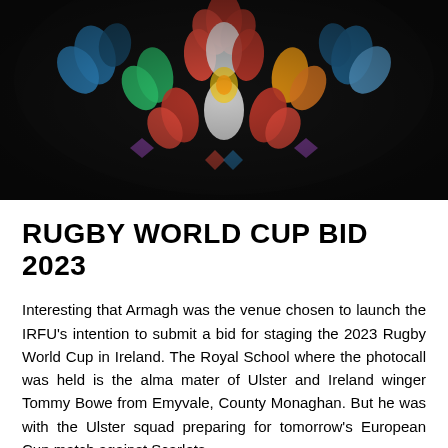[Figure (photo): Circular stained glass window with colorful floral/leaf designs in red, blue, green, yellow, and white against a dark black background. The window appears to be from a church or historic school building.]
RUGBY WORLD CUP BID 2023
Interesting that Armagh was the venue chosen to launch the IRFU's intention to submit a bid for staging the 2023 Rugby World Cup in Ireland. The Royal School where the photocall was held is the alma mater of Ulster and Ireland winger Tommy Bowe from Emyvale, County Monaghan. But he was with the Ulster squad preparing for tomorrow's European Cup match against Scarlets.
The announcement was made in conjunction with the Irish